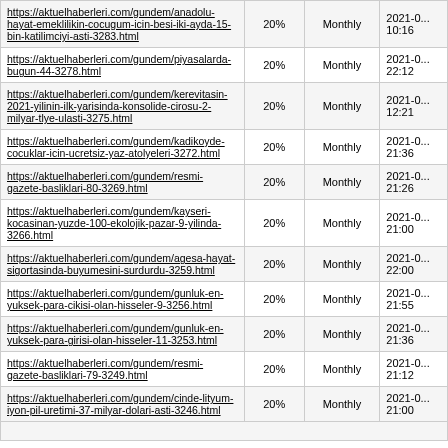| URL | Priority | Change Frequency | Last Modified |
| --- | --- | --- | --- |
| https://aktuelhaberleri.com/gundem/anadolu-hayat-emeklilikin-cocugum-icin-besi-iki-ayda-15-bin-katilimciyi-asti-3283.html | 20% | Monthly | 2021-0... 10:16 |
| https://aktuelhaberleri.com/gundem/piyasalarda-bugun-44-3278.html | 20% | Monthly | 2021-0... 22:12 |
| https://aktuelhaberleri.com/gundem/kerevitasin-2021-yilinin-ilk-yarisinda-konsolide-cirosu-2-milyar-tlye-ulasti-3275.html | 20% | Monthly | 2021-0... 12:21 |
| https://aktuelhaberleri.com/gundem/kadikoyde-cocuklar-icin-ucretsiz-yaz-atolyeleri-3272.html | 20% | Monthly | 2021-0... 21:36 |
| https://aktuelhaberleri.com/gundem/resmi-gazete-basliklari-80-3269.html | 20% | Monthly | 2021-0... 21:26 |
| https://aktuelhaberleri.com/gundem/kayseri-kocasinan-yuzde-100-ekolojik-pazar-9-yilinda-3266.html | 20% | Monthly | 2021-0... 21:00 |
| https://aktuelhaberleri.com/gundem/agesa-hayat-sigortasinda-buyumesini-surdurdu-3259.html | 20% | Monthly | 2021-0... 22:00 |
| https://aktuelhaberleri.com/gundem/gunluk-en-yuksek-para-cikisi-olan-hisseler-9-3256.html | 20% | Monthly | 2021-0... 21:55 |
| https://aktuelhaberleri.com/gundem/gunluk-en-yuksek-para-girisi-olan-hisseler-11-3253.html | 20% | Monthly | 2021-0... 21:36 |
| https://aktuelhaberleri.com/gundem/resmi-gazete-basliklari-79-3249.html | 20% | Monthly | 2021-0... 21:12 |
| https://aktuelhaberleri.com/gundem/cinde-lityum-iyon-pil-uretimi-37-milyar-dolari-asti-3246.html | 20% | Monthly | 2021-0... 21:00 |